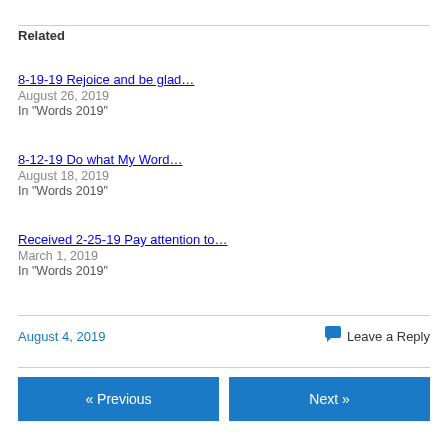Related
8-19-19 Rejoice and be glad…
August 26, 2019
In "Words 2019"
8-12-19 Do what My Word…
August 18, 2019
In "Words 2019"
Received 2-25-19 Pay attention to…
March 1, 2019
In "Words 2019"
August 4, 2019    💬 Leave a Reply
« Previous    Next »